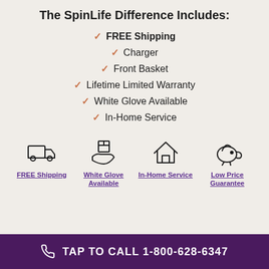The SpinLife Difference Includes:
FREE Shipping
Charger
Front Basket
Lifetime Limited Warranty
White Glove Available
In-Home Service
[Figure (infographic): Four icons in a row: delivery truck (FREE Shipping), hand holding package (White Glove Available), house (In-Home Service), piggy bank (Low Price Guarantee)]
SHIPPING INFORMATION
TAP TO CALL 1-800-628-6347